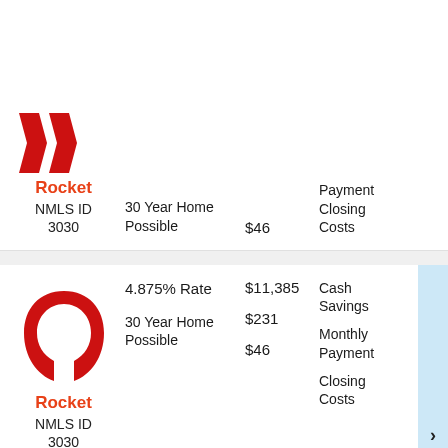[Figure (logo): Rocket Mortgage logo with two red chevrons, label Rocket, NMLS ID 3030 (partial card at top)]
4.875% Rate
30 Year Home Possible
$46
Payment Closing Costs
[Figure (logo): Rocket Mortgage horseshoe logo, label Rocket, NMLS ID 3030]
4.875% Rate
30 Year Home Possible
$11,385
$231
$46
Cash Savings
Monthly Payment
Closing Costs
[Figure (logo): Rocket Mortgage logo partial at bottom, showing large red letters OI]
4.875% Rate
30 Year Home
$11,385
$231
Cash Savings
Monthly